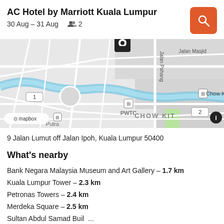AC Hotel by Marriott Kuala Lumpur
30 Aug – 31 Aug  👥 2
[Figure (map): Street map showing the area around AC Hotel by Marriott Kuala Lumpur, with pin marker, showing streets, PWTC, Chow Kit area, Jalan Pahang, Jalan Masjid, mapbox attribution, and info button.]
9 Jalan Lumut off Jalan Ipoh, Kuala Lumpur 50400
What's nearby
Bank Negara Malaysia Museum and Art Gallery – 1.7 km
Kuala Lumpur Tower – 2.3 km
Petronas Towers – 2.4 km
Merdeka Square – 2.5 km
Sultan Abdul Samad Building – 2.7 km